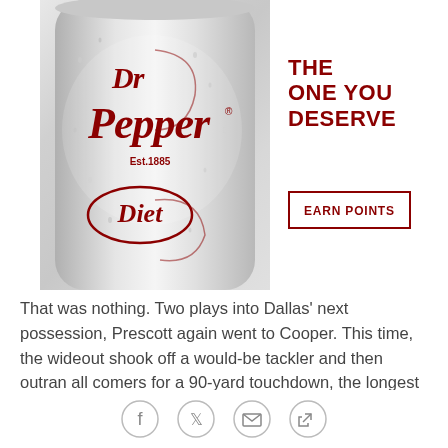[Figure (illustration): Diet Dr Pepper can with condensation, showing the Dr Pepper logo and 'Est. 1885' text, with the word 'Diet' at the bottom in a circular design]
THE ONE YOU DESERVE
EARN POINTS
That was nothing. Two plays into Dallas' next possession, Prescott again went to Cooper. This time, the wideout shook off a would-be tackler and then outran all comers for a 90-yard touchdown, the longest in the NFL season. With that, the Cowboys all of a
[Figure (illustration): Social sharing icons: Facebook, Twitter, Email, and link/share button]